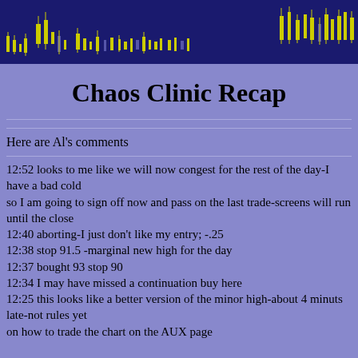[Figure (other): Header banner with dark blue background showing candlestick chart pattern with yellow/gold candlesticks]
Chaos Clinic Recap
Here are Al's comments
12:52 looks to me like we will now congest for the rest of the day-I have a bad cold
so I am going to sign off now and pass on the last trade-screens will run until the close
12:40 aborting-I just don't like my entry; -.25
12:38 stop 91.5 -marginal new high for the day
12:37 bought 93 stop 90
12:34 I may have missed a continuation buy here
12:25 this looks like a better version of the minor high-about 4 minuts late-not rules yet
on how to trade the chart on the AUX page